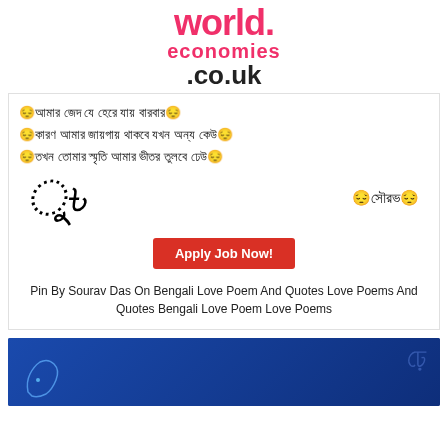world. economies .co.uk
[Figure (illustration): Bengali love poem text with sad face emojis and decorative handwriting/signature, with a red Apply Job Now button]
Pin By Sourav Das On Bengali Love Poem And Quotes Love Poems And Quotes Bengali Love Poem Love Poems
[Figure (illustration): Blue card with map outline and decorative swirl pattern]